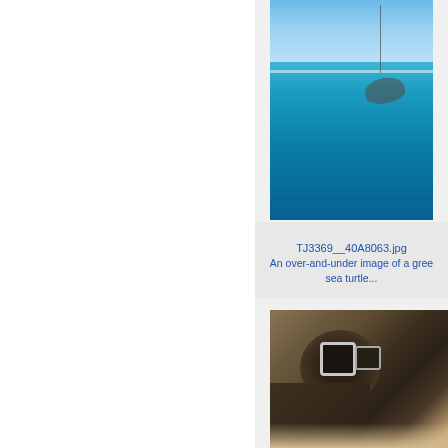[Figure (photo): An over-and-under (split) image of a green sea turtle in clear blue tropical ocean water, with a sailboat mast visible above the waterline and the sky in the background.]
TJ3369__40A8063.jpg
An over-and-under image of a gree sea turtle...
[Figure (photo): Close-up photograph of a green sea turtle resting on sandy beach, showing the textured shell and flippers in detail.]